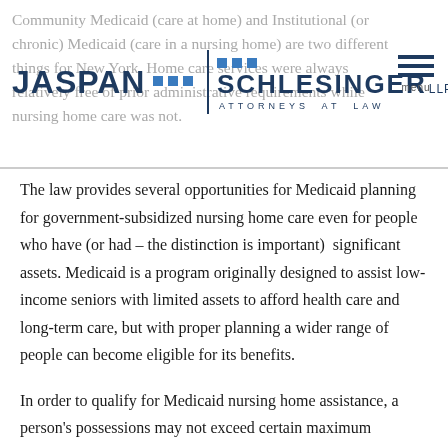Jaspan Schlesinger LLP — Attorneys at Law
Community Medicaid (care at home) and Institutional (or chronic) Medicaid (care in a nursing home) are two different things for New York. Home care services were always relatively free of prior administrative requirements while nursing home care was not.
The law provides several opportunities for Medicaid planning for government-subsidized nursing home care even for people who have (or had – the distinction is important) significant assets. Medicaid is a program originally designed to assist low-income seniors with limited assets to afford health care and long-term care, but with proper planning a wider range of people can become eligible for its benefits.
In order to qualify for Medicaid nursing home assistance, a person's possessions may not exceed certain maximum